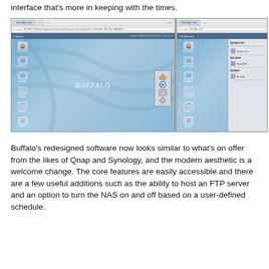interface that's more in keeping with the times.
[Figure (screenshot): Two side-by-side screenshots of Buffalo NAS web interface shown in a Chrome browser. Left screenshot shows the System view with a blue desktop, BUFFALO watermark, folder icons in the left sidebar, and a small floating dialog with navigation icons. Right screenshot shows the Preferences view with similar left sidebar icons and a right panel showing System info, Service info, Services, ShareISO, System, and Account items.]
Buffalo's redesigned software now looks similar to what's on offer from the likes of Qnap and Synology, and the modern aesthetic is a welcome change. The core features are easily accessible and there are a few useful additions such as the ability to host an FTP server and an option to turn the NAS on and off based on a user-defined schedule.